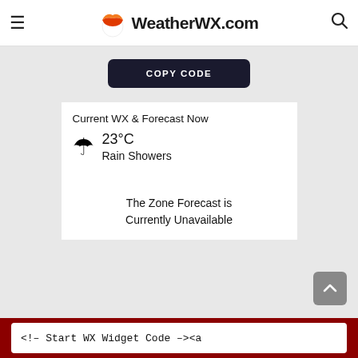WeatherWX.com
[Figure (screenshot): WeatherWX weather widget showing COPY CODE button, current weather 23°C Rain Showers, and Zone Forecast Unavailable message]
<!-- Start WX Widget Code --><a